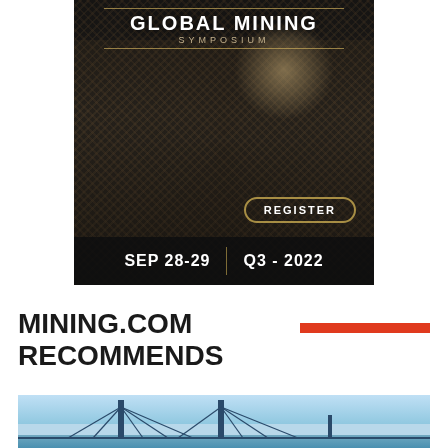[Figure (other): Global Mining Symposium advertisement banner. Dark textured background with dramatic lighting showing mining equipment/rocks. Text: GLOBAL MINING SYMPOSIUM, REGISTER button, SEP 28-29 | Q3 - 2022]
MINING.COM RECOMMENDS
[Figure (photo): Photo of a bridge over water under a blue sky, partial view showing suspension bridge towers and cables]